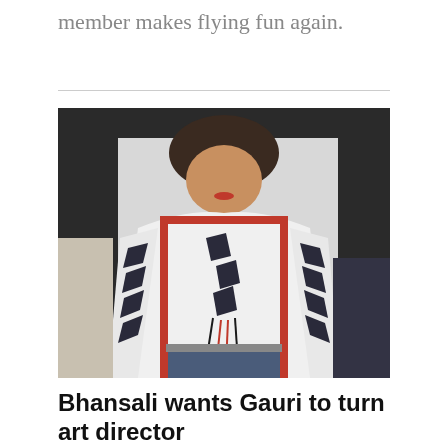member makes flying fun again.
[Figure (photo): A woman wearing a white, black, and red patterned embroidered top with tassels, sitting outdoors]
Bhansali wants Gauri to turn art director